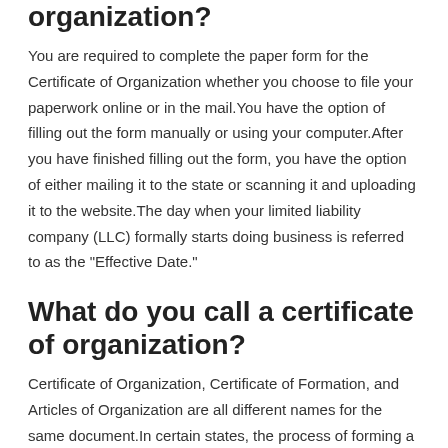organization?
You are required to complete the paper form for the Certificate of Organization whether you choose to file your paperwork online or in the mail.You have the option of filling out the form manually or using your computer.After you have finished filling out the form, you have the option of either mailing it to the state or scanning it and uploading it to the website.The day when your limited liability company (LLC) formally starts doing business is referred to as the "Effective Date."
What do you call a certificate of organization?
Certificate of Organization, Certificate of Formation, and Articles of Organization are all different names for the same document.In certain states, the process of forming a limited liability corporation